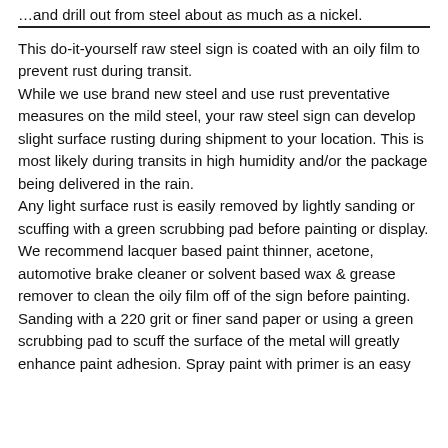…and drill out from steel about as much as a nickel.
This do-it-yourself raw steel sign is coated with an oily film to prevent rust during transit.
While we use brand new steel and use rust preventative measures on the mild steel, your raw steel sign can develop slight surface rusting during shipment to your location. This is most likely during transits in high humidity and/or the package being delivered in the rain.
Any light surface rust is easily removed by lightly sanding or scuffing with a green scrubbing pad before painting or display.
We recommend lacquer based paint thinner, acetone, automotive brake cleaner or solvent based wax & grease remover to clean the oily film off of the sign before painting. Sanding with a 220 grit or finer sand paper or using a green scrubbing pad to scuff the surface of the metal will greatly enhance paint adhesion. Spray paint with primer is an easy